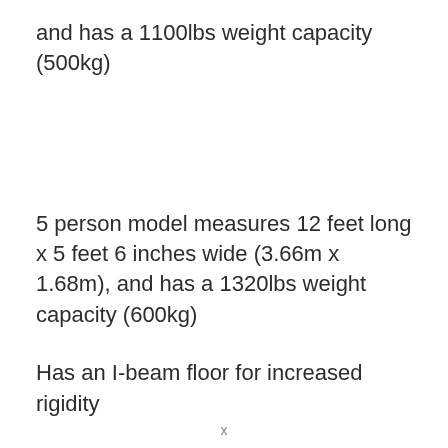and has a 1100lbs weight capacity (500kg)
5 person model measures 12 feet long x 5 feet 6 inches wide (3.66m x 1.68m), and has a 1320lbs weight capacity (600kg)
Has an I-beam floor for increased rigidity
Has a grab line around the perimeter of the